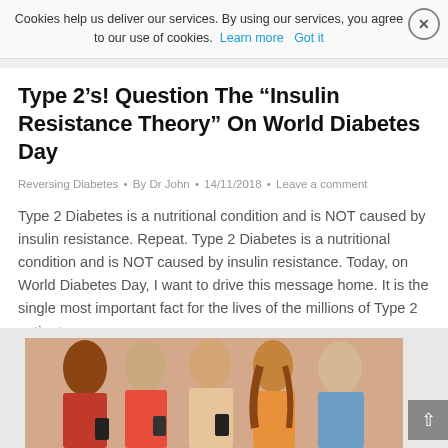Cookies help us deliver our services. By using our services, you agree to our use of cookies. Learn more  Got it
Type 2’s! Question The “Insulin Resistance Theory” On World Diabetes Day
Reversing Diabetes • By Dr John • 14/11/2018 • Leave a comment
Type 2 Diabetes is a nutritional condition and is NOT caused by insulin resistance. Repeat. Type 2 Diabetes is a nutritional condition and is NOT caused by insulin resistance. Today, on World Diabetes Day, I want to drive this message home. It is the single most important fact for the lives of the millions of Type 2 patients…
Details
[Figure (photo): Group of people holding mobile phones, colorful clothing visible including red and blue outfits]